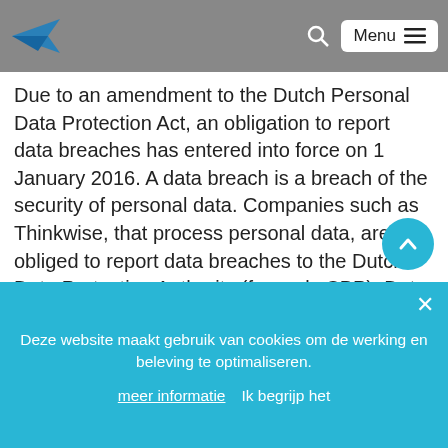Menu
Due to an amendment to the Dutch Personal Data Protection Act, an obligation to report data breaches has entered into force on 1 January 2016. A data breach is a breach of the security of personal data. Companies such as Thinkwise, that process personal data, are obliged to report data breaches to the Dutch Data Protection Authority (formerly CBP): Data Protection Authority

If you learn of or suspect a data breach please notify us immediately at https://www.werkenbijthinkwise.nl/ne
Deze website maakt gebruik van cookies om de werking en beleving te optimaliseren.
meer informatie  Ik begrijp het